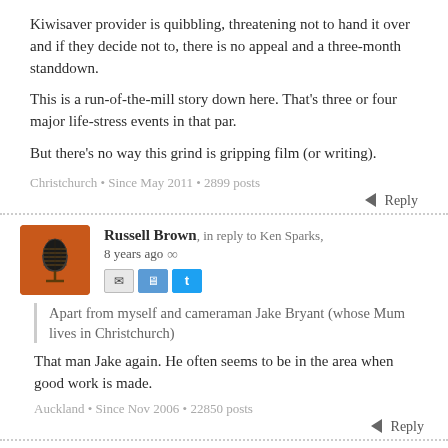Kiwisaver provider is quibbling, threatening not to hand it over and if they decide not to, there is no appeal and a three-month standdown.
This is a run-of-the-mill story down here. That's three or four major life-stress events in that par.
But there's no way this grind is gripping film (or writing).
Christchurch • Since May 2011 • 2899 posts
← Reply
Russell Brown, in reply to Ken Sparks, 8 years ago ∞
Apart from myself and cameraman Jake Bryant (whose Mum lives in Christchurch)
That man Jake again. He often seems to be in the area when good work is made.
Auckland • Since Nov 2006 • 22850 posts
← Reply